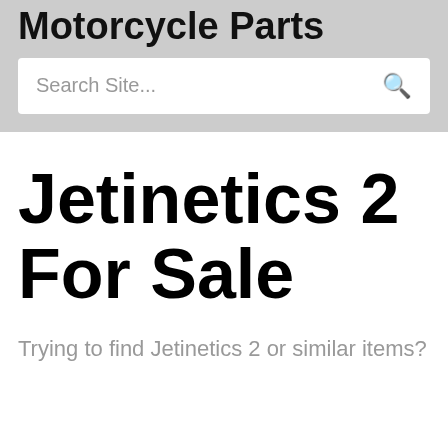Motorcycle Parts
[Figure (other): Search bar with placeholder text 'Search Site...' and a magnifying glass icon]
Jetinetics 2 For Sale
Trying to find Jetinetics 2 or similar items?